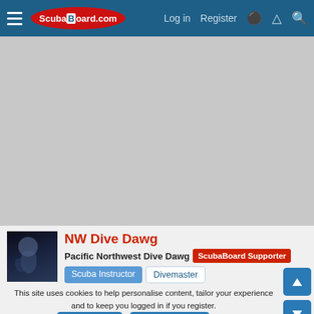ScubaBoard.com — Log in   Register
[Figure (other): Gray advertisement placeholder area]
NW Dive Dawg
Pacific Northwest Dive Dawg   ScubaBoard Supporter   Scuba Instructor   Divemaster
This site uses cookies to help personalise content, tailor your experience and to keep you logged in if you register.
By continuing to use this site, you are consenting to our use of cookies.
✓ Accept   Learn more…